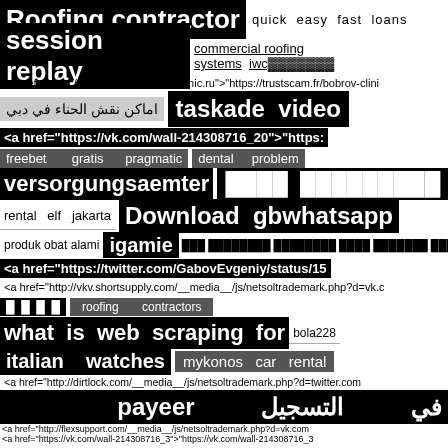Roofing contractor session replay
quick easy fast loans
commercial roofing systems iwc
<a href="https://trustscam.fr/bobrov-clinic.ru">"https://trustscam.fr/bobrov-clini
اماكن نقش الحناء في دبي    taskade video
<a href="https://vk.com/wall-214308716_20">"https:
freebet gratis pragmatic    dental problem
versorgungsaemter    ████  █████████
rental elf jakarta    Download gbwhatsapp
produk obat alami    igamie    ███ ████████ ████████ ████ ███████ █████
<a href="https://twitter.com/GabovEvgeniy/status/15
<a href="http://vkv.shortsupply.com/__media__/js/netsoltrademark.php?d=vk.c
█ █ █ █    roofing contractors
what is web scraping for    bola228
italian watches    mykonos car rental
<a href="http://dirtlock.com/__media__/js/netsoltrademark.php?d=twitter.com
في   التسجيل   payeer
<a href="http://flexsupport.com/__media__/js/netsoltrademark.php?d=vk.com
<a href="https://vk.com/wall-214308716_3">"https://vk.com/wall-214308716_3
<a href="http://segurosamexico.tc/__media__/js/netsoltrademark.php?d=vk.co
Uis  accommodation    Bimbim  public